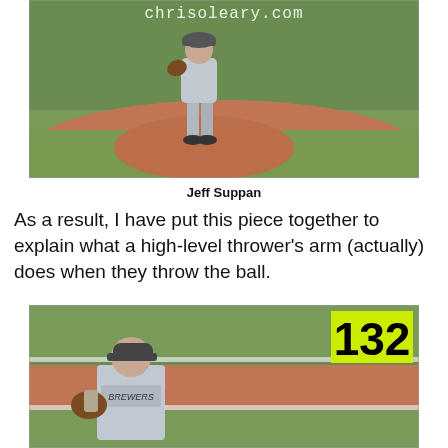[Figure (photo): Baseball pitcher standing on a mound at a ballpark, with chrisoleary.com watermark visible at top]
Jeff Suppan
As a result, I have put this piece together to explain what a high-level thrower's arm (actually) does when they throw the ball.
[Figure (photo): Baseball pitcher in a Brewers uniform leaning forward on the mound, with frame number 132 displayed in yellow/green box in upper right]